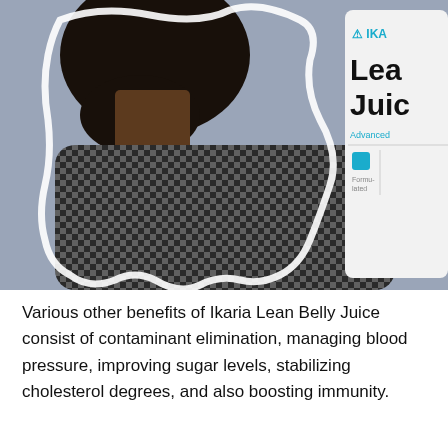[Figure (photo): A man wearing a checkered shirt photographed from behind/side angle showing his neck and upper back, with a partially visible Ikaria Lean Belly Juice product container on the right side against a gray background. A white torn-paper style cutout border overlays the person.]
Various other benefits of Ikaria Lean Belly Juice consist of contaminant elimination, managing blood pressure, improving sugar levels, stabilizing cholesterol degrees, and also boosting immunity.